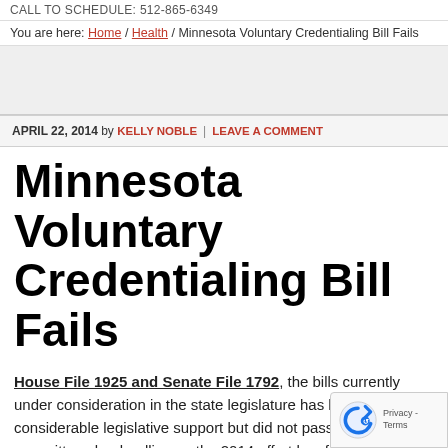CALL TO SCHEDULE: 512-865-6349
You are here: Home / Health / Minnesota Voluntary Credentialing Bill Fails
APRIL 22, 2014 by KELLY NOBLE  |  LEAVE A COMMENT
Minnesota Voluntary Credentialing Bill Fails
House File 1925 and Senate File 1792, the bills currently under consideration in the state legislature has had considerable legislative support but did not pass certain committees by deadline so the 2014 effort has failed. I